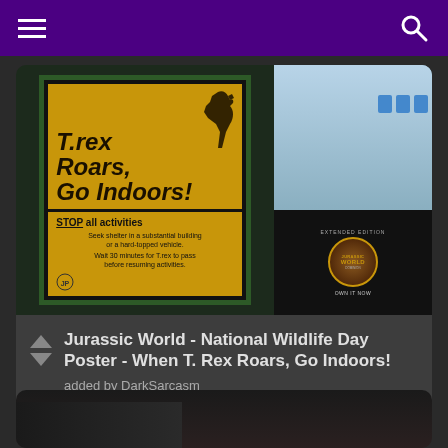[Figure (photo): A yellow and black warning sign on a green pole reading 'T.rex Roars, Go Indoors!' with STOP all activities, seek shelter instructions, and a Jurassic World Extended Edition logo in the bottom right corner. Left portion shows a dinosaur warning sign, right portion shows a Jurassic World DVD/digital release advertisement.]
Jurassic World - National Wildlife Day Poster - When T. Rex Roars, Go Indoors!
added by DarkSarcasm
[Figure (photo): Partial view of a second card/post at the bottom of the screen, showing a dark image with what appears to be a person.]